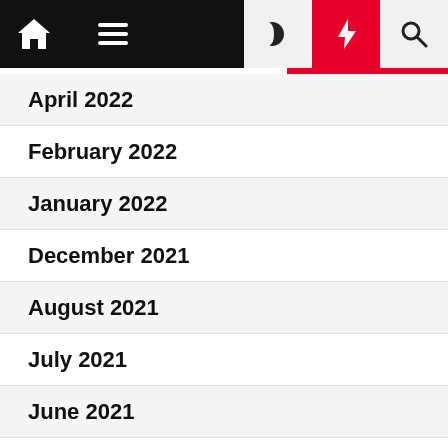Navigation bar with home, menu, moon, bolt, and search icons
April 2022
February 2022
January 2022
December 2021
August 2021
July 2021
June 2021
May 2021
April 2021
March 2021